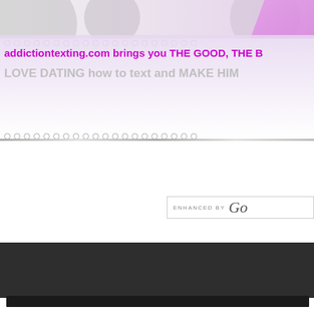[Figure (screenshot): Website banner header with decorative circles and pink/purple shapes in the top portion of the page]
addictiontexting.com brings you THE GOOD, THE B
LOVE DATING how to text and MAKE HIM
[Figure (screenshot): Enhanced by Google search box widget showing 'ENHANCED BY Go']
[Figure (screenshot): Dark background section (video embed area) taking up the lower middle portion of the page]
[Figure (screenshot): Dark bottom bar element at the very bottom of the page]